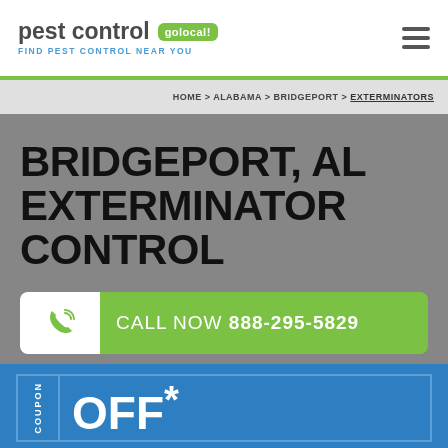pest control golocal - FIND PEST CONTROL NEAR YOU
HOME > ALABAMA > BRIDGEPORT > EXTERMINATORS
BRIDGEPORT, AL EXTERMINATOR CONTROL
CALL NOW 888-295-5829
COUPON OFF*